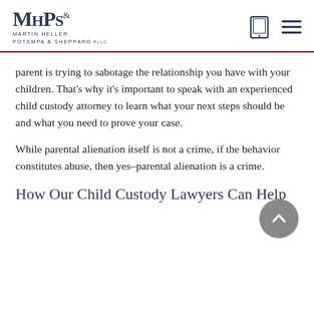MHPS Martin Heller Potempa & Sheppard pllc
parent is trying to sabotage the relationship you have with your children. That's why it's important to speak with an experienced child custody attorney to learn what your next steps should be and what you need to prove your case.
While parental alienation itself is not a crime, if the behavior constitutes abuse, then yes–parental alienation is a crime.
How Our Child Custody Lawyers Can Help